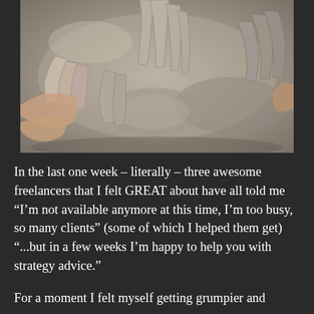[Figure (photo): Overhead photo of multiple human hands pressed into wet grey clay, creating impressions and textures. The hands appear to belong to several people of varying skin tones, and the clay forms a complex sculptural surface.]
In the last one week – literally – three awesome freelancers that I felt GREAT about have all told me “I’m not available anymore at this time, I’m too busy, so many clients” (some of which I helped them get) “...but in a few weeks I’m happy to help you with strategy advice.”
For a moment I felt myself getting grumpier and